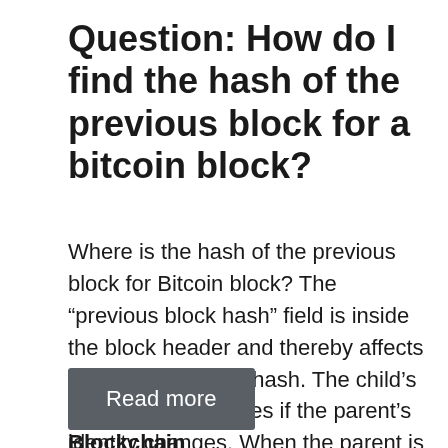Question: How do I find the hash of the previous block for a bitcoin block?
Where is the hash of the previous block for Bitcoin block? The “previous block hash” field is inside the block header and thereby affects the current block’s hash. The child’s own identity changes if the parent’s identity changes. When the parent is modified in any way, the parent’s hash changes. How do I find my …
Read more
Blockchain